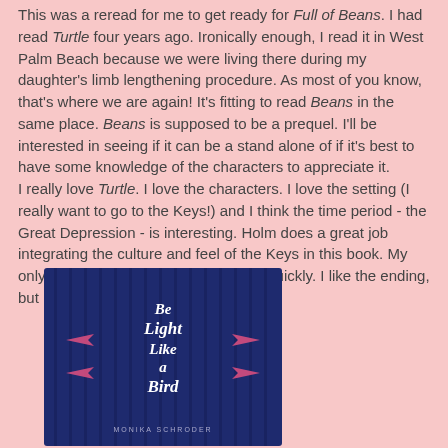This was a reread for me to get ready for Full of Beans. I had read Turtle four years ago. Ironically enough, I read it in West Palm Beach because we were living there during my daughter's limb lengthening procedure. As most of you know, that's where we are again! It's fitting to read Beans in the same place. Beans is supposed to be a prequel. I'll be interested in seeing if it can be a stand alone of if it's best to have some knowledge of the characters to appreciate it. I really love Turtle. I love the characters. I love the setting (I really want to go to the Keys!) and I think the time period - the Great Depression - is interesting. Holm does a great job integrating the culture and feel of the Keys in this book. My only complaint is it seems to wrap up quickly. I like the ending, but it's over so quickly.
[Figure (photo): Book cover of 'Be Light Like a Bird' by Monika Schroder. Dark blue background with vertical stripe pattern and decorative bird/arrow motifs in pink. Title text in white cursive script.]